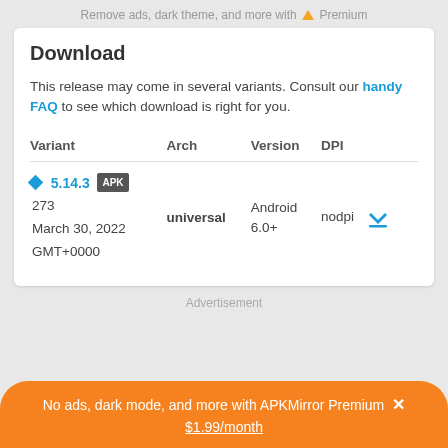Remove ads, dark theme, and more with ▲ Premium
Download
This release may come in several variants. Consult our handy FAQ to see which download is right for you.
| Variant | Arch | Version | DPI |
| --- | --- | --- | --- |
| 5.14.3 APK
273
March 30, 2022
GMT+0000 | universal | Android 6.0+ | nodpi |
Advertisement
No ads, dark mode, and more with APKMirror Premium ×
$1.99/month